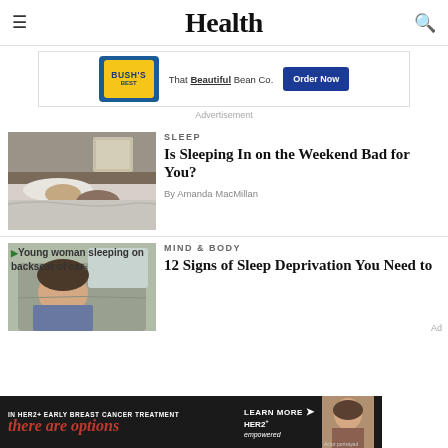Health
[Figure (photo): Bush's Best advertisement banner with logo and Order Now button]
Advertisement
[Figure (photo): Person sleeping in bed with dog]
SLEEP
Is Sleeping In on the Weekend Bad for You?
By Amanda MacMillan
[Figure (photo): Young woman sleeping on backseat of car]
MIND & BODY
12 Signs of Sleep Deprivation You Need to
[Figure (photo): Bottom advertisement: IN HER2+ EARLY BREAST CANCER TREATMENT there are options LEARN MORE HER2+ empowered Actor portrayed]